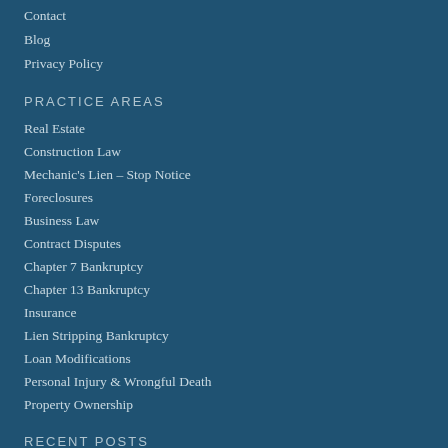Contact
Blog
Privacy Policy
PRACTICE AREAS
Real Estate
Construction Law
Mechanic's Lien – Stop Notice
Foreclosures
Business Law
Contract Disputes
Chapter 7 Bankruptcy
Chapter 13 Bankruptcy
Insurance
Lien Stripping Bankruptcy
Loan Modifications
Personal Injury & Wrongful Death
Property Ownership
RECENT POSTS